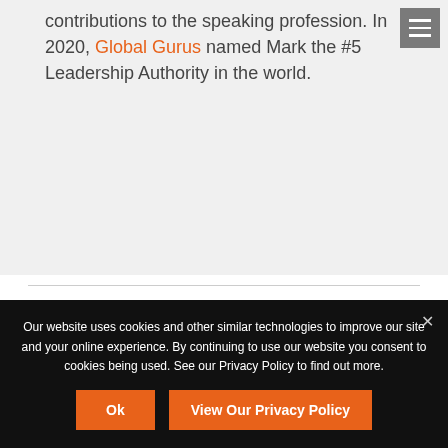contributions to the speaking profession. In 2020, Global Gurus named Mark the #5 Leadership Authority in the world.
PREVIOUS
Our website uses cookies and other similar technologies to improve our site and your online experience. By continuing to use our website you consent to cookies being used. See our Privacy Policy to find out more.